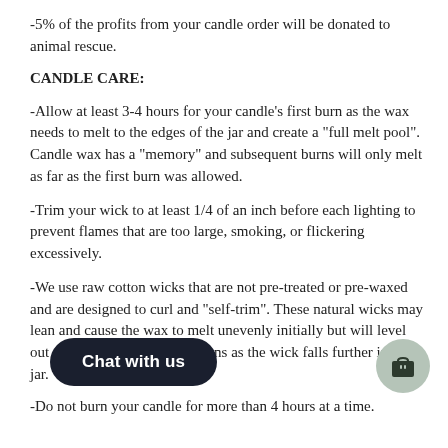-5% of the profits from your candle order will be donated to animal rescue.
CANDLE CARE:
-Allow at least 3-4 hours for your candle's first burn as the wax needs to melt to the edges of the jar and create a "full melt pool". Candle wax has a "memory" and subsequent burns will only melt as far as the first burn was allowed.
-Trim your wick to at least 1/4 of an inch before each lighting to prevent flames that are too large, smoking, or flickering excessively.
-We use raw cotton wicks that are not pre-treated or pre-waxed and are designed to curl and "self-trim". These natural wicks may lean and cause the wax to melt unevenly initially but will level out after the first couple of burns as the wick falls further into the jar.
-Do not burn your candle for more than 4 hours at a time.